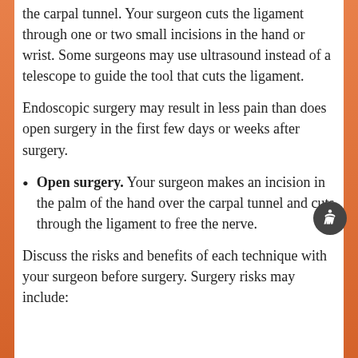the carpal tunnel. Your surgeon cuts the ligament through one or two small incisions in the hand or wrist. Some surgeons may use ultrasound instead of a telescope to guide the tool that cuts the ligament.
Endoscopic surgery may result in less pain than does open surgery in the first few days or weeks after surgery.
Open surgery. Your surgeon makes an incision in the palm of the hand over the carpal tunnel and cuts through the ligament to free the nerve.
Discuss the risks and benefits of each technique with your surgeon before surgery. Surgery risks may include: